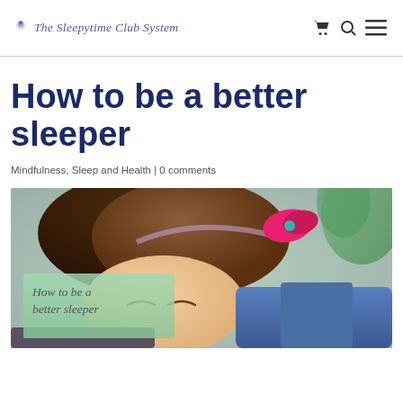The Sleepytime Club System
How to be a better sleeper
Mindfulness, Sleep and Health | 0 comments
[Figure (photo): A child sleeping with a pink bow headband, overlaid with text 'How to be a better sleeper' on a semi-transparent green box]